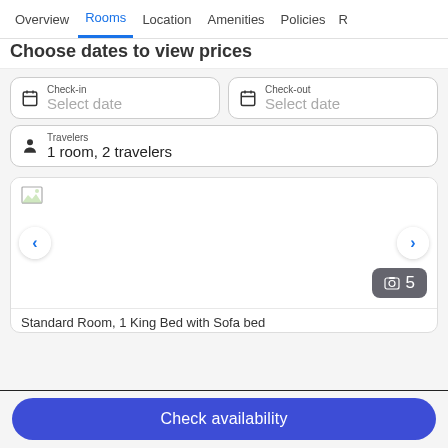Overview | Rooms | Location | Amenities | Policies | R
Choose dates to view prices
Check-in
Select date
Check-out
Select date
Travelers
1 room, 2 travelers
[Figure (screenshot): Room image placeholder with left/right navigation arrows and a photo count badge showing 5]
Standard Room, 1 King Bed with Sofa bed
Check availability